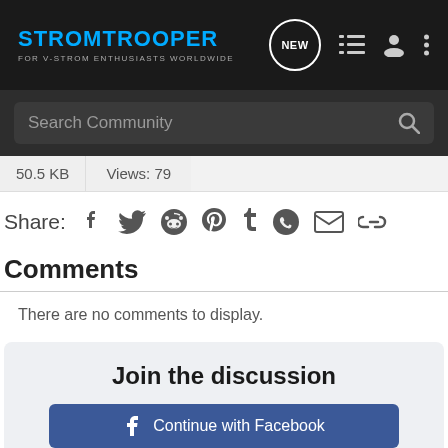STROMTROOPER — FOR V-STROM ENTHUSIASTS WORLDWIDE
50.5 KB   Views: 79
Share:
Comments
There are no comments to display.
Join the discussion
Continue with Facebook